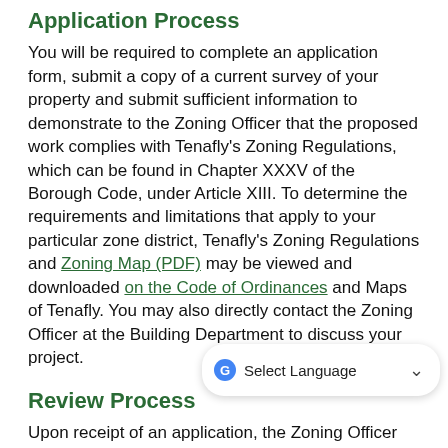Application Process
You will be required to complete an application form, submit a copy of a current survey of your property and submit sufficient information to demonstrate to the Zoning Officer that the proposed work complies with Tenafly's Zoning Regulations, which can be found in Chapter XXXV of the Borough Code, under Article XIII. To determine the requirements and limitations that apply to your particular zone district, Tenafly's Zoning Regulations and Zoning Map (PDF) may be viewed and downloaded on the Code of Ordinances and Maps of Tenafly. You may also directly contact the Zoning Officer at the Building Department to discuss your project.
Review Process
Upon receipt of an application, the Zoning Officer will review it and determine if it complies with the Borough's Zoning Regulations. If so, a Zoning Permit will be issued. If you are unable to comply with the